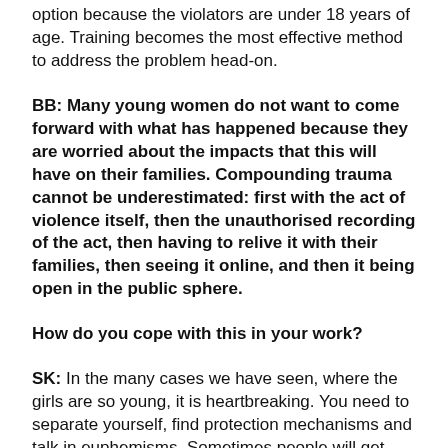option because the violators are under 18 years of age. Training becomes the most effective method to address the problem head-on.
BB: Many young women do not want to come forward with what has happened because they are worried about the impacts that this will have on their families. Compounding trauma cannot be underestimated: first with the act of violence itself, then the unauthorised recording of the act, then having to relive it with their families, then seeing it online, and then it being open in the public sphere.
How do you cope with this in your work?
SK: In the many cases we have seen, where the girls are so young, it is heartbreaking. You need to separate yourself, find protection mechanisms and talk in euphemisms. Sometimes people will get upset by the apparent indifference to the violence, they say that I am talking like someone in a not-for-